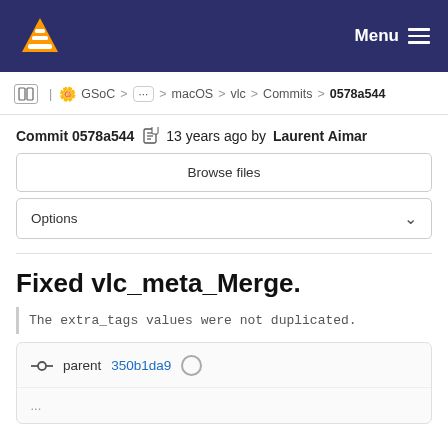VLC media player — Menu (navigation bar)
GSoC > ... > macOS > vlc > Commits > 0578a544
Commit 0578a544  13 years ago by Laurent Aimar
Browse files
Options
Fixed vlc_meta_Merge.
The extra_tags values were not duplicated.
parent 350b1da9